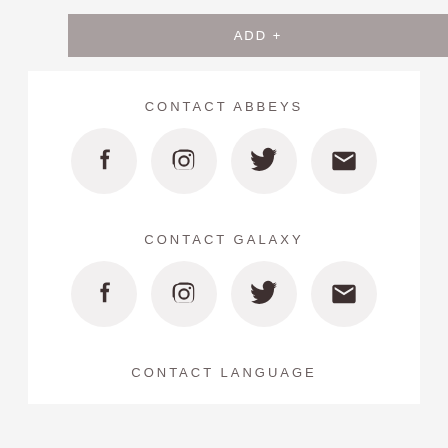ADD +
CONTACT ABBEYS
[Figure (infographic): Row of four social media icon circles: Facebook, Instagram, Twitter, Email]
CONTACT GALAXY
[Figure (infographic): Row of four social media icon circles: Facebook, Instagram, Twitter, Email]
CONTACT LANGUAGE